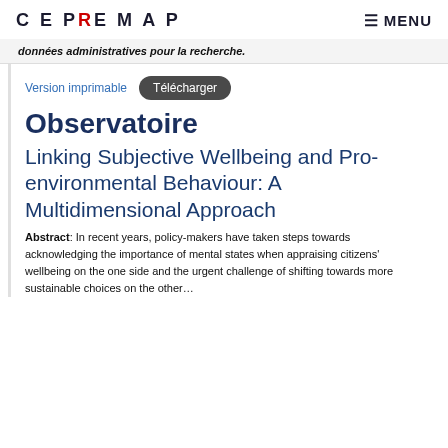CEPREMAP   MENU
données administratives pour la recherche.
Version imprimable   Télécharger
Observatoire
Linking Subjective Wellbeing and Pro-environmental Behaviour: A Multidimensional Approach
Abstract: In recent years, policy-makers have taken steps towards acknowledging the importance of mental states when appraising citizens' wellbeing on the one side and the urgent challenge of shifting towards more sustainable choices on the other…